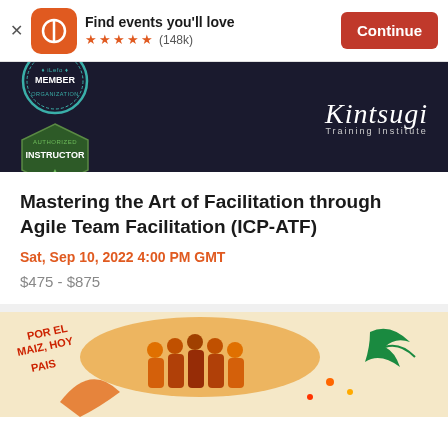[Figure (screenshot): Eventbrite app install banner with logo, 'Find events you'll love' text, 5 star rating (148k reviews), and Continue button]
[Figure (photo): Kintsugi Training Institute dark banner with Member and Instructor badges on left, Kintsugi Training Institute text in cursive on right]
Mastering the Art of Facilitation through Agile Team Facilitation (ICP-ATF)
Sat, Sep 10, 2022 4:00 PM GMT
$475 - $875
[Figure (illustration): Colorful folk art illustration with text 'Por el maiz, hoy pais' and figures in traditional costume with a bird]